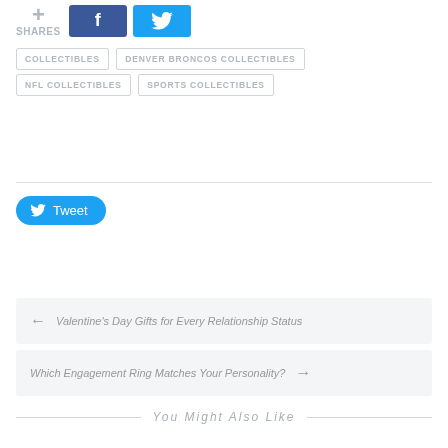+ SHARES
COLLECTIBLES
DENVER BRONCOS COLLECTIBLES
NFL COLLECTIBLES
SPORTS COLLECTIBLES
Tweet
← Valentine's Day Gifts for Every Relationship Status
Which Engagement Ring Matches Your Personality? →
You Might Also Like